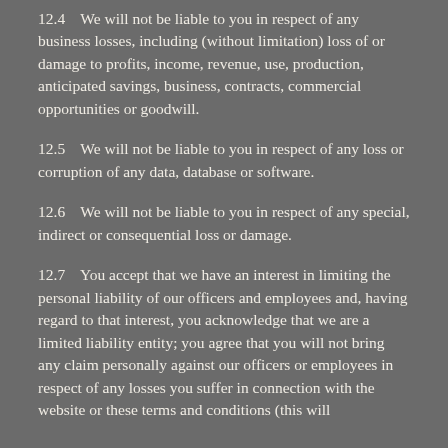12.4    We will not be liable to you in respect of any business losses, including (without limitation) loss of or damage to profits, income, revenue, use, production, anticipated savings, business, contracts, commercial opportunities or goodwill.
12.5    We will not be liable to you in respect of any loss or corruption of any data, database or software.
12.6    We will not be liable to you in respect of any special, indirect or consequential loss or damage.
12.7    You accept that we have an interest in limiting the personal liability of our officers and employees and, having regard to that interest, you acknowledge that we are a limited liability entity; you agree that you will not bring any claim personally against our officers or employees in respect of any losses you suffer in connection with the website or these terms and conditions (this will